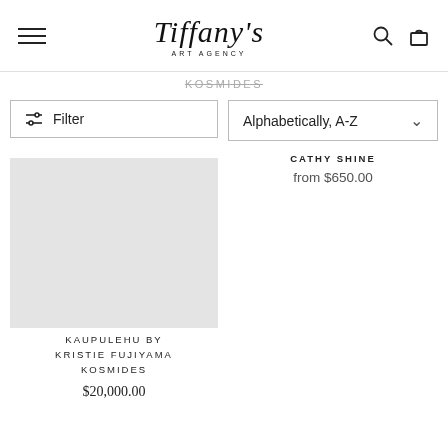Tiffany's Art Agency
KOSMIDES
Filter
Alphabetically, A-Z
CATHY SHINE
from $650.00
KAUPULEHU BY KRISTIE FUJIYAMA KOSMIDES
$20,000.00